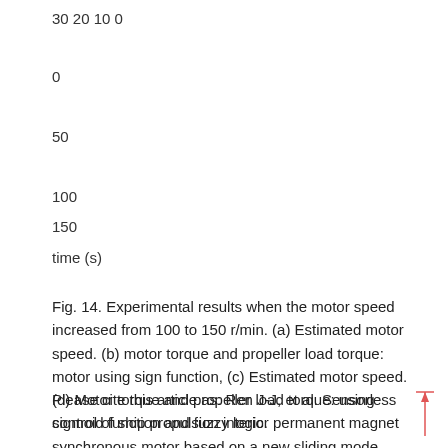30 20 10 0
0
50
100
150
time (s)
Fig. 14. Experimental results when the motor speed increased from 100 to 150 r/min. (a) Estimated motor speed. (b) motor torque and propeller load torque: motor using sign function, (c) Estimated motor speed. (d) Motor torque and propeller load torque: using sigmoid function and fuzzy logic.
Please cite this article as: Ren J-J, et al. Sensorless control of ship propulsion interior permanent magnet synchronous motor based on a new sliding mode observer. ISA